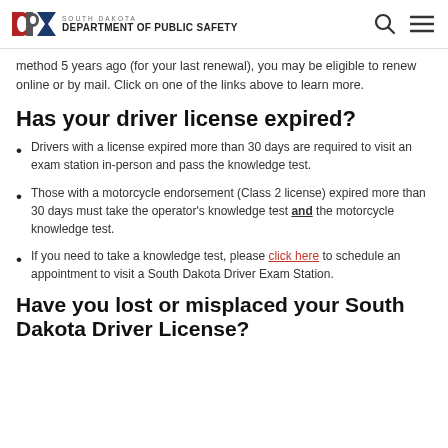South Dakota Department of Public Safety
method 5 years ago (for your last renewal), you may be eligible to renew online or by mail. Click on one of the links above to learn more.
Has your driver license expired?
Drivers with a license expired more than 30 days are required to visit an exam station in-person and pass the knowledge test.
Those with a motorcycle endorsement (Class 2 license) expired more than 30 days must take the operator's knowledge test and the motorcycle knowledge test.
If you need to take a knowledge test, please click here to schedule an appointment to visit a South Dakota Driver Exam Station.
Have you lost or misplaced your South Dakota Driver License?